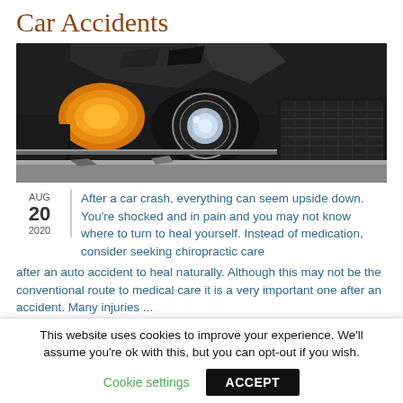Car Accidents
[Figure (photo): Close-up photograph of a damaged car front end showing a broken headlight, crumpled hood, and deformed bumper after a collision.]
AUG 20 2020 | After a car crash, everything can seem upside down. You're shocked and in pain and you may not know where to turn to heal yourself. Instead of medication, consider seeking chiropractic care after an auto accident to heal naturally. Although this may not be the conventional route to medical care it is a very important one after an accident. Many injuries ...
Uncategorized
read more →
This website uses cookies to improve your experience. We'll assume you're ok with this, but you can opt-out if you wish.
Cookie settings
ACCEPT